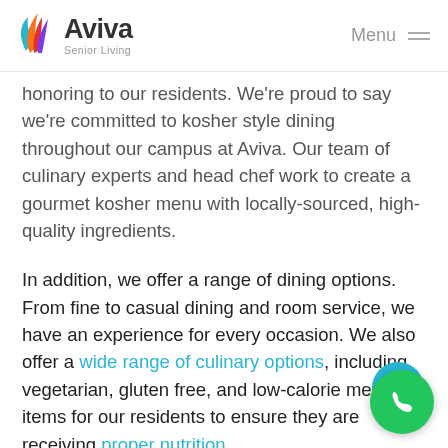[Figure (logo): Aviva Senior Living logo with colorful flame/leaf icon and text]
Menu ≡
honoring to our residents. We're proud to say we're committed to kosher style dining throughout our campus at Aviva. Our team of culinary experts and head chef work to create a gourmet kosher menu with locally-sourced, high-quality ingredients.
In addition, we offer a range of dining options. From fine to casual dining and room service, we have an experience for every occasion. We also offer a wide range of culinary options, including vegetarian, gluten free, and low-calorie menu items for our residents to ensure they are receiving proper nutrition.